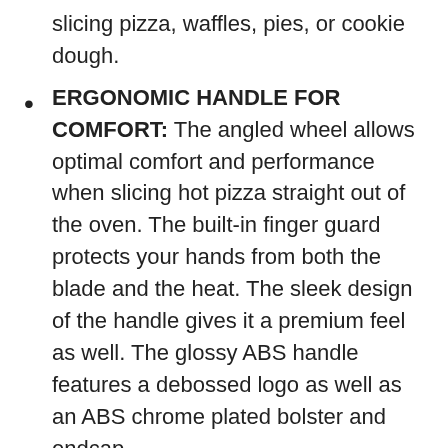slicing pizza, waffles, pies, or cookie dough.
ERGONOMIC HANDLE FOR COMFORT: The angled wheel allows optimal comfort and performance when slicing hot pizza straight out of the oven. The built-in finger guard protects your hands from both the blade and the heat. The sleek design of the handle gives it a premium feel as well. The glossy ABS handle features a debossed logo as well as an ABS chrome plated bolster and endcap.